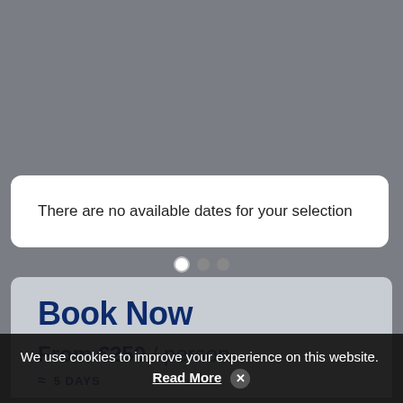[Figure (screenshot): Gray background overlay representing a webpage background]
There are no available dates for your selection
[Figure (screenshot): Pagination dots row with three dots, first one white/active]
Book Now
From €250 / person
≈ 5 DAYS
We use cookies to improve your experience on this website. Read More ✕